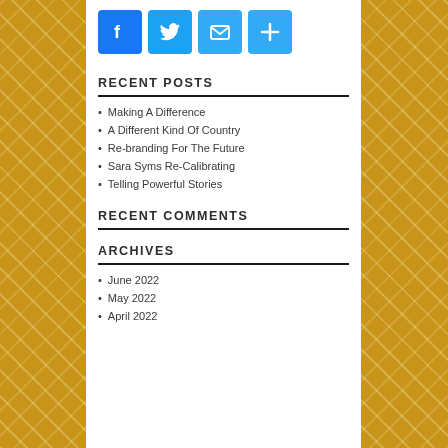[Figure (other): Social share icons: Facebook (f), Twitter (bird), Email (envelope), More (+)]
RECENT POSTS
Making A Difference
A Different Kind Of Country
Re-branding For The Future
Sara Syms Re-Calibrating
Telling Powerful Stories
RECENT COMMENTS
ARCHIVES
June 2022
May 2022
April 2022